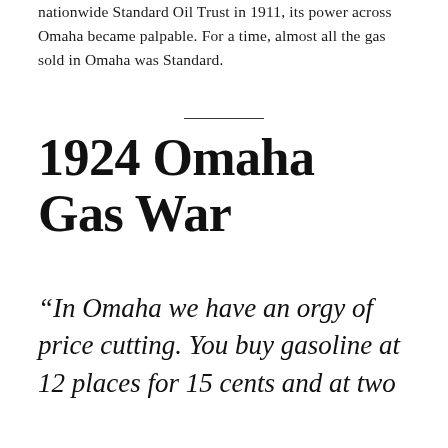nationwide Standard Oil Trust in 1911, its power across Omaha became palpable. For a time, almost all the gas sold in Omaha was Standard.
1924 Omaha Gas War
“In Omaha we have an orgy of price cutting. You buy gasoline at 12 places for 15 cents and at two